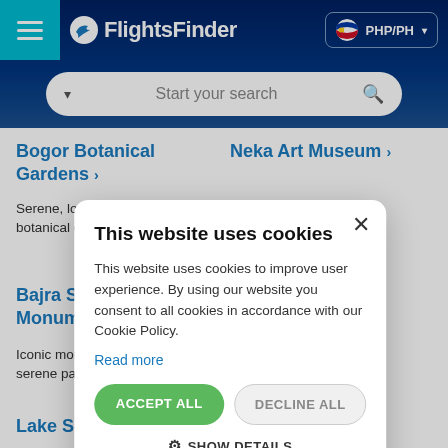FlightsFinder — PHP/PH — Start your search
Bogor Botanical Gardens
Neka Art Museum
Serene, long-standing botanical gardens
Vibrant venue for
Bajra Sandhi Monument
Iconic monument in a serene park
[Figure (screenshot): Cookie consent modal dialog with title 'This website uses cookies', body text, Read more link, ACCEPT ALL and DECLINE ALL buttons, and SHOW DETAILS option]
Lake Segara Anak
The Blanco